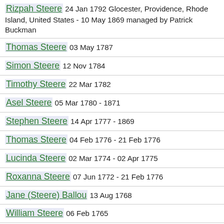Rizpah Steere 24 Jan 1792 Glocester, Providence, Rhode Island, United States - 10 May 1869 managed by Patrick Buckman
Thomas Steere 03 May 1787
Simon Steere 12 Nov 1784
Timothy Steere 22 Mar 1782
Asel Steere 05 Mar 1780 - 1871
Stephen Steere 14 Apr 1777 - 1869
Thomas Steere 04 Feb 1776 - 21 Feb 1776
Lucinda Steere 02 Mar 1774 - 02 Apr 1775
Roxanna Steere 07 Jun 1772 - 21 Feb 1776
Jane (Steere) Ballou 13 Aug 1768
William Steere 06 Feb 1765
Mark Steere 11 Aug 1770 managed by Andrew